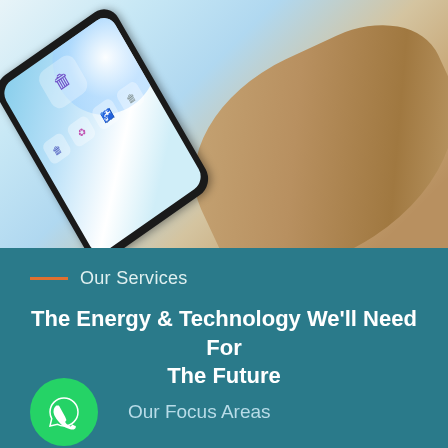[Figure (photo): A hand holding a smartphone with a recycling/waste management app displayed on screen, showing app icons on a blue-themed interface with a large glowing circle. Light blue and beige background.]
Our Services
The Energy & Technology We'll Need For The Future
Our Focus Areas